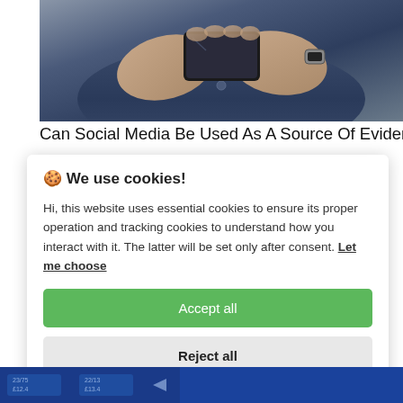[Figure (photo): Person holding a smartphone with both hands, wearing dark clothing. Close-up shot.]
Can Social Media Be Used As A Source Of Evidence
🍪 We use cookies!

Hi, this website uses essential cookies to ensure its proper operation and tracking cookies to understand how you interact with it. The latter will be set only after consent. Let me choose

[Accept all]

[Reject all]